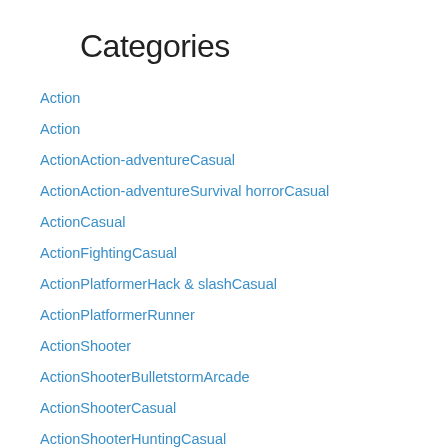Categories
Action
Action
ActionAction-adventureCasual
ActionAction-adventureSurvival horrorCasual
ActionCasual
ActionFightingCasual
ActionPlatformerHack & slashCasual
ActionPlatformerRunner
ActionShooter
ActionShooterBulletstormArcade
ActionShooterCasual
ActionShooterHuntingCasual